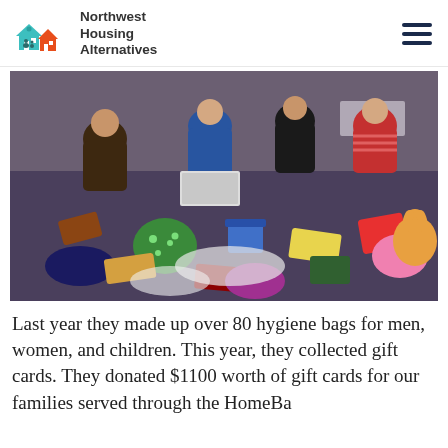Northwest Housing Alternatives
[Figure (photo): Several women kneeling on the floor surrounded by piles of gift bags, stuffed animals, colorful wrapped packages, and donation items, sorting hygiene bags and gifts.]
Last year they made up over 80 hygiene bags for men, women, and children. This year, they collected gift cards. They donated $1100 worth of gift cards for our families served through the HomeBa...